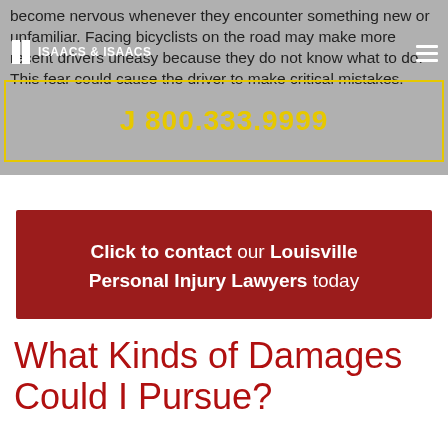ISAACS & ISAACS
become nervous whenever they encounter something new or unfamiliar. Facing bicyclists on the road may make more recent drivers uneasy because they do not know what to do. This fear could cause the driver to make critical mistakes.
J 800.333.9999
[Figure (infographic): Red CTA banner: Click to contact our Louisville Personal Injury Lawyers today]
What Kinds of Damages Could I Pursue?